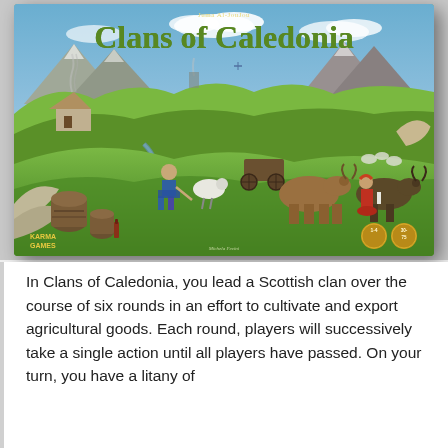[Figure (photo): Box art for the board game 'Clans of Caledonia' by Juma Al-JouJou, published by Karma Games. Illustrated box showing a Scottish highland landscape with green rolling hills, mountains, a river, clouds, and farm animals including sheep and cattle. Characters in traditional Scottish dress are depicted. The title 'Clans of Caledonia' appears in large olive-green stylized lettering. Player count (1-4) and time (30-75 min) icons appear at bottom right. Karma Games logo at bottom left.]
In Clans of Caledonia, you lead a Scottish clan over the course of six rounds in an effort to cultivate and export agricultural goods. Each round, players will successively take a single action until all players have passed. On your turn, you have a litany of